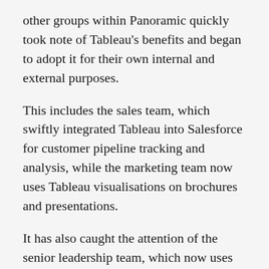other groups within Panoramic quickly took note of Tableau's benefits and began to adopt it for their own internal and external purposes.
This includes the sales team, which swiftly integrated Tableau into Salesforce for customer pipeline tracking and analysis, while the marketing team now uses Tableau visualisations on brochures and presentations.
It has also caught the attention of the senior leadership team, which now uses Tableau dashboards to review company financial reports instead of traditional Excel charts and PowerPoint presentations. Today, the leadership team uses Tableau to track key performance indicators like